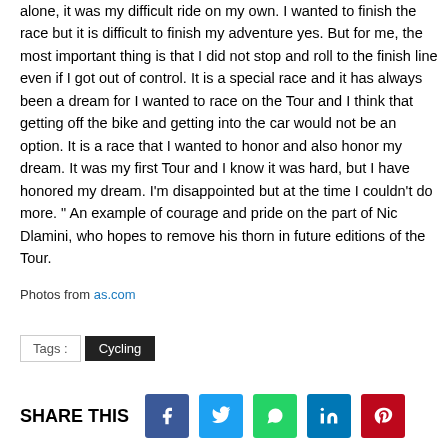alone, it was my difficult ride on my own. I wanted to finish the race but it is difficult to finish my adventure yes. But for me, the most important thing is that I did not stop and roll to the finish line even if I got out of control. It is a special race and it has always been a dream for I wanted to race on the Tour and I think that getting off the bike and getting into the car would not be an option. It is a race that I wanted to honor and also honor my dream. It was my first Tour and I know it was hard, but I have honored my dream. I'm disappointed but at the time I couldn't do more. " An example of courage and pride on the part of Nic Dlamini, who hopes to remove his thorn in future editions of the Tour.
Photos from as.com
Tags : Cycling
SHARE THIS